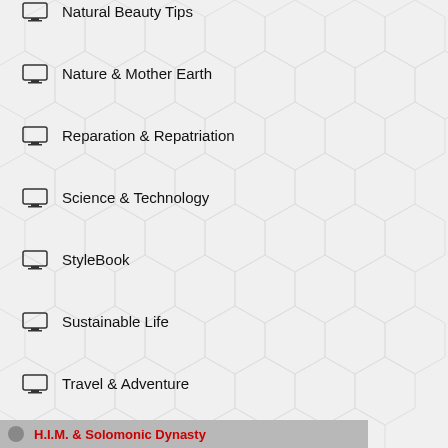Natural Beauty Tips
Nature & Mother Earth
Reparation & Repatriation
Science & Technology
StyleBook
Sustainable Life
Travel & Adventure
H.I.M. & Solomonic Dynasty